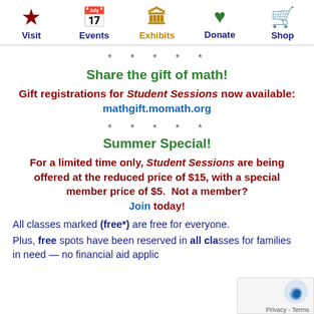Visit | Events | Exhibits | Donate | Shop
* * * * *
Share the gift of math!
Gift registrations for Student Sessions now available: mathgift.momath.org
* * * * *
Summer Special!
For a limited time only, Student Sessions are being offered at the reduced price of $15, with a special member price of $5.  Not a member? Join today!
All classes marked (free*) are free for everyone.
Plus, free spots have been reserved in all classes for families in need — no financial aid applic